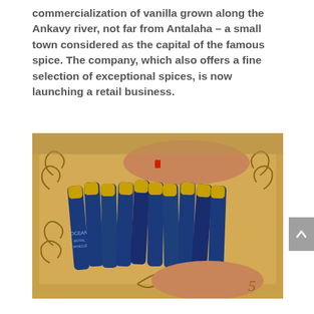commercialization of vanilla grown along the Ankavy river, not far from Antalaha – a small town considered as the capital of the famous spice. The company, which also offers a fine selection of exceptional spices, is now launching a retail business.
[Figure (photo): Hands arranging blue and gold cylindrical vanilla/spice tubes in a decorated wooden tray with ornate carved scroll designs.]